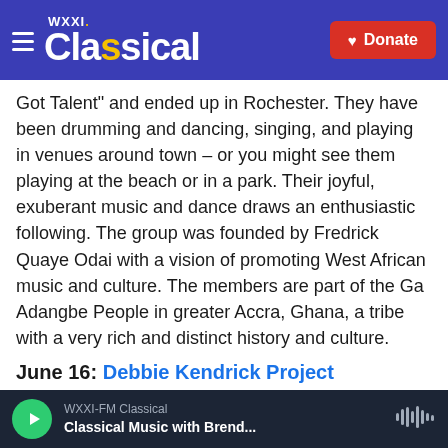WXXI Classical | Donate
Got Talent" and ended up in Rochester. They have been drumming and dancing, singing, and playing in venues around town – or you might see them playing at the beach or in a park. Their joyful, exuberant music and dance draws an enthusiastic following. The group was founded by Fredrick Quaye Odai with a vision of promoting West African music and culture. The members are part of the Ga Adangbe People in greater Accra, Ghana, a tribe with a very rich and distinct history and culture.
June 16: Debbie Kendrick Project
Thursday, June 16; 12:10 pm; Granite Mills Park,
WXXI-FM Classical | Classical Music with Brend...